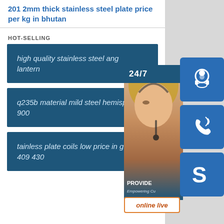201 2mm thick stainless steel plate price per kg in bhutan
HOT-SELLING
high quality stainless steel ang lantern
q235b material mild steel hemisphere 900
tainless plate coils low price in grade 409 430
[Figure (photo): Customer service representative with headset, with 24/7 support panel, headset icon, phone icon, Skype icon, PROVIDE / Empowering Cu... text, and online live button]